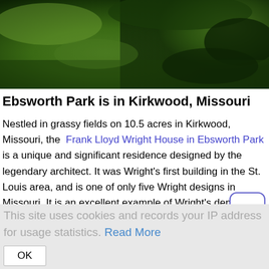[Figure (photo): Aerial or overhead view of grassy green landscape with trees and dark ground]
Ebsworth Park is in Kirkwood, Missouri
Nestled in grassy fields on 10.5 acres in Kirkwood, Missouri, the Frank Lloyd Wright House in Ebsworth Park is a unique and significant residence designed by the legendary architect. It was Wright's first building in the St. Louis area, and is one of only five Wright designs in Missouri. It is an excellent example of Wright's democratic vision, intended to provide middle-class Americans with beautiful architecture at an affordable cost.
The home is notable not only for its architectural integrity, but for
This site uses cookies and records your IP address for usage statistics. Read More  OK